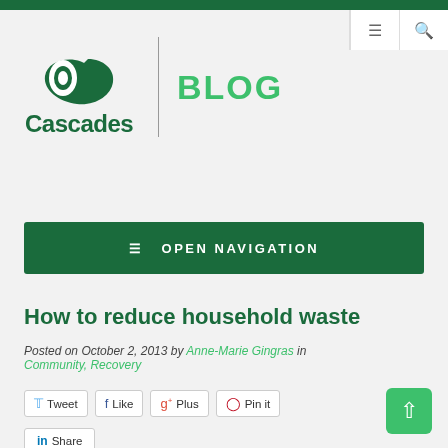Cascades BLOG
[Figure (logo): Cascades logo with paper roll icon and green text reading 'Cascades', next to a vertical divider and green 'BLOG' text]
≡ OPEN NAVIGATION
How to reduce household waste
Posted on October 2, 2013 by Anne-Marie Gingras in Community, Recovery
Tweet  Like  Plus  Pin it  Share